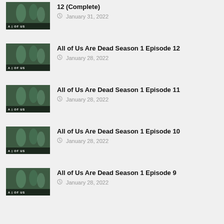12 (Complete) — January 31, 2022
All of Us Are Dead Season 1 Episode 12 — January 28, 2022
All of Us Are Dead Season 1 Episode 11 — January 28, 2022
All of Us Are Dead Season 1 Episode 10 — January 28, 2022
All of Us Are Dead Season 1 Episode 9 — January 28, 2022